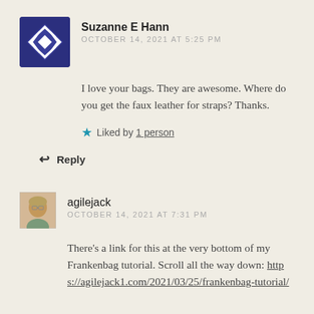[Figure (illustration): Dark navy blue quilt-pattern avatar icon for user Suzanne E Hann]
Suzanne E Hann
OCTOBER 14, 2021 AT 5:25 PM
I love your bags. They are awesome. Where do you get the faux leather for straps? Thanks.
★ Liked by 1 person
↩ Reply
[Figure (photo): Small profile photo of agilejack, a person with glasses]
agilejack
OCTOBER 14, 2021 AT 7:31 PM
There's a link for this at the very bottom of my Frankenbag tutorial. Scroll all the way down: https://agilejack1.com/2021/03/25/frankenbag-tutorial/